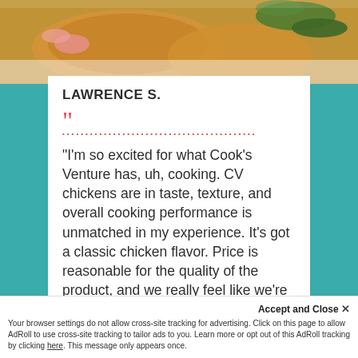[Figure (photo): Close-up food photo showing cooked chicken with herbs and garnish on a teal/green background]
LAWRENCE S.
"I'm so excited for what Cook’s Venture has, uh, cooking. CV chickens are in taste, texture, and overall cooking performance is unmatched in my experience. It’s got a classic chicken flavor. Price is reasonable for the quality of the product, and we really feel like we’re making a meaningful contribution to better farming practices, at CV and beyond."
Accept and Close ×
Your browser settings do not allow cross-site tracking for advertising. Click on this page to allow AdRoll to use cross-site tracking to tailor ads to you. Learn more or opt out of this AdRoll tracking by clicking here. This message only appears once.